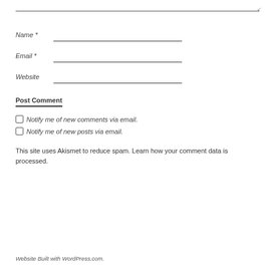Name *
Email *
Website
Post Comment
Notify me of new comments via email.
Notify me of new posts via email.
This site uses Akismet to reduce spam. Learn how your comment data is processed.
Website Built with WordPress.com.